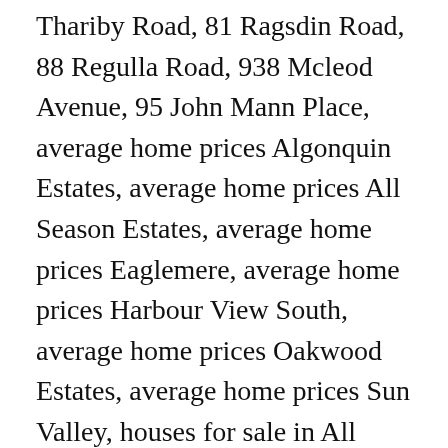Thariby Road, 81 Ragsdin Road, 88 Regulla Road, 938 Mcleod Avenue, 95 John Mann Place, average home prices Algonquin Estates, average home prices All Season Estates, average home prices Eaglemere, average home prices Harbour View South, average home prices Oakwood Estates, average home prices Sun Valley, houses for sale in All Season Estates, houses for sale in Eaglemere, houses for sale in Harbour View South, houses for sale in Oakwood Estates, houses for sale in Sun Valley, median home prices Algonquin Estates, median home prices All Season Estates, median home prices Eaglemere, median home prices Harbour View South, median home prices Oakwood Estates, median home prices Sun